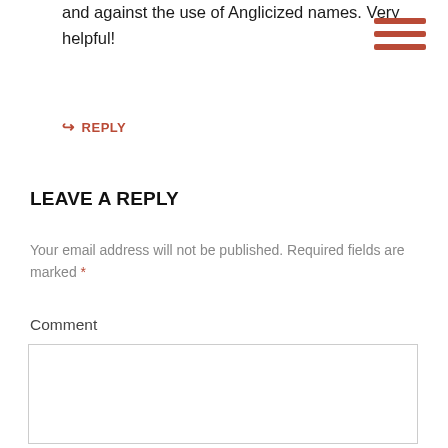and against the use of Anglicized names. Very helpful!
REPLY
LEAVE A REPLY
Your email address will not be published. Required fields are marked *
Comment